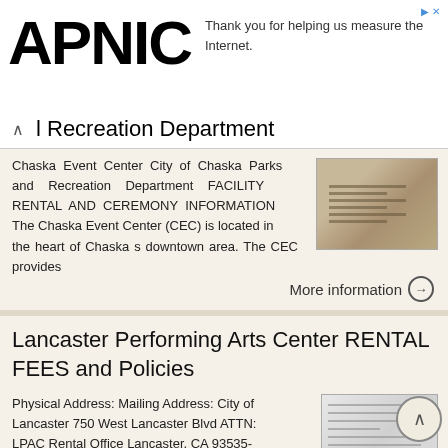[Figure (logo): APNIC logo in large bold black text with advertisement text 'Thank you for helping us measure the Internet.']
Recreation Department
Chaska Event Center City of Chaska Parks and Recreation Department FACILITY RENTAL AND CEREMONY INFORMATION The Chaska Event Center (CEC) is located in the heart of Chaska s downtown area. The CEC provides
More information →
Lancaster Performing Arts Center RENTAL FEES and Policies
Physical Address: Mailing Address: City of Lancaster 750 West Lancaster Blvd ATTN: LPAC Rental Office Lancaster, CA 93535-3816 44933 Fern Ave LPAC Rental Administrator (661) 723-5932 www.lpac.org PMartindale@CityofLancasterCA.org